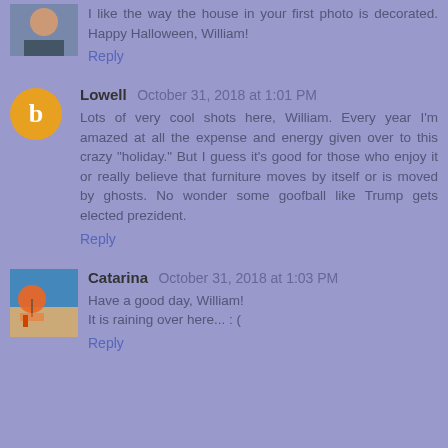[Figure (photo): Small avatar photo of a person, partially cropped at top of page]
I like the way the house in your first photo is decorated. Happy Halloween, William!
Reply
[Figure (illustration): Orange circle avatar with white letter B (Blogger icon)]
Lowell October 31, 2018 at 1:01 PM
Lots of very cool shots here, William. Every year I'm amazed at all the expense and energy given over to this crazy "holiday." But I guess it's good for those who enjoy it or really believe that furniture moves by itself or is moved by ghosts. No wonder some goofball like Trump gets elected prezident.
Reply
[Figure (photo): Small avatar photo showing beach scene with umbrella]
Catarina October 31, 2018 at 1:03 PM
Have a good day, William!
It is raining over here... : (
Reply